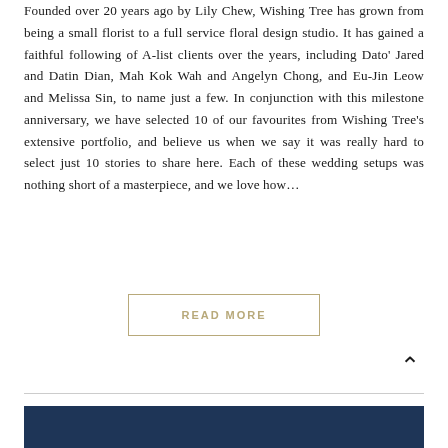Founded over 20 years ago by Lily Chew, Wishing Tree has grown from being a small florist to a full service floral design studio. It has gained a faithful following of A-list clients over the years, including Dato' Jared and Datin Dian, Mah Kok Wah and Angelyn Chong, and Eu-Jin Leow and Melissa Sin, to name just a few. In conjunction with this milestone anniversary, we have selected 10 of our favourites from Wishing Tree's extensive portfolio, and believe us when we say it was really hard to select just 10 stories to share here. Each of these wedding setups was nothing short of a masterpiece, and we love how...
READ MORE
[Figure (other): Dark navy blue banner/image at the bottom of the page]